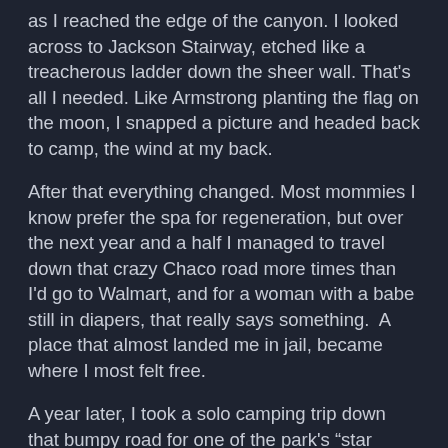as I reached the edge of the canyon. I looked across to Jackson Stairway, etched like a treacherous ladder down the sheer wall. That's all I needed. Like Armstrong planting the flag on the moon, I snapped a picture and headed back to camp, the wind at my back.
After that everything changed. Most mommies I know prefer the spa for regeneration, but over the next year and a half I managed to travel down that crazy Chaco road more times than I'd go to Walmart, and for a woman with a babe still in diapers, that really says something.  A place that almost landed me in jail, became where I most felt free.
A year later, I took a solo camping trip down that bumpy road for one of the park's "star talks" that utilize Chaco's impressive telescope collection.  Because of its remote location, Chaco Canyon offers some of the best stargazing in North America.  Periodically, Joe Public can view spectacles far out in space normally only viewed by professional astronomers and God.   It was a no-moon night and the stars dazzled while bats flit about the sky like dark butterflies.  We gazed into the center of Lyra, the twins, and other far flung